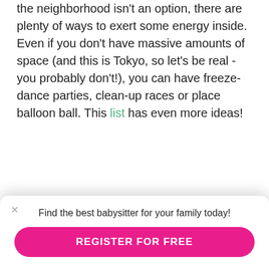the neighborhood isn't an option, there are plenty of ways to exert some energy inside. Even if you don't have massive amounts of space (and this is Tokyo, so let's be real - you probably don't!), you can have freeze-dance parties, clean-up races or place balloon ball. This list has even more ideas!
[Figure (infographic): Row of social media share buttons: Facebook (blue circle, F), Twitter (blue circle, bird), WhatsApp (green circle, phone), LINE (green circle, LINE text), Gmail (red/white circle, M), More/Share (blue circle, plus sign)]
Find the best babysitter for your family today!
REGISTER FOR FREE
Recent News